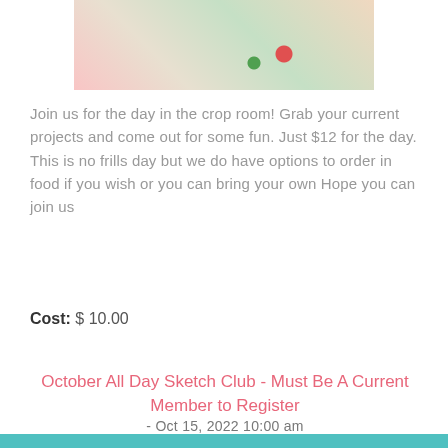[Figure (photo): Craft supplies including scissors, paper, photos, and colorful materials on a table]
Join us for the day in the crop room! Grab your current projects and come out for some fun. Just $12 for the day. This is no frills day but we do have options to order in food if you wish or you can bring your own Hope you can join us
Cost: $ 10.00
October All Day Sketch Club - Must Be A Current Member to Register
- Oct 15, 2022 10:00 am
[Figure (photo): Craft and baking supplies with colorful decorations]